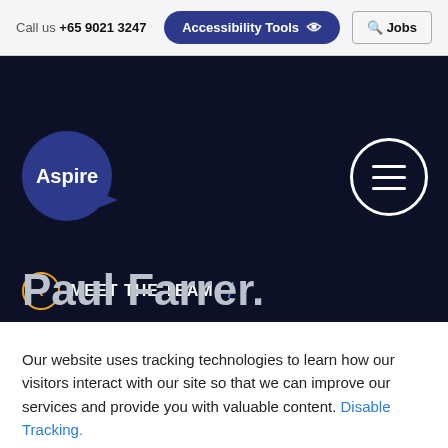Call us +65 9021 3247   Accessibility Tools   Jobs
[Figure (logo): Aspire logo - dark blue circle with white text 'Aspire' and a small directional tail on the right side]
[Figure (other): Hamburger menu icon inside a white circle outline on dark navy background]
MEET THE TEAM /
Paul Farrer.
Our website uses tracking technologies to learn how our visitors interact with our site so that we can improve our services and provide you with valuable content. Disable Tracking.
OK